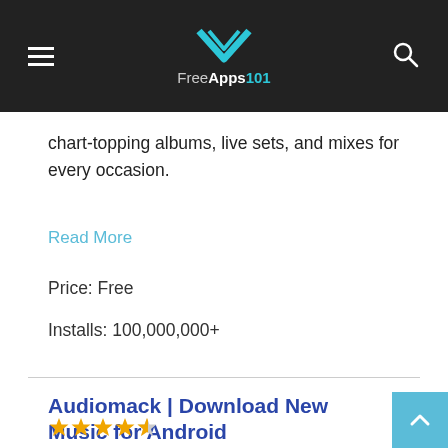FreeApps101
chart-topping albums, live sets, and mixes for every occasion.
Read More
Price: Free
Installs: 100,000,000+
Audiomack | Download New Music for Android
[Figure (other): Star rating: 4.5 out of 5 stars shown as orange stars]